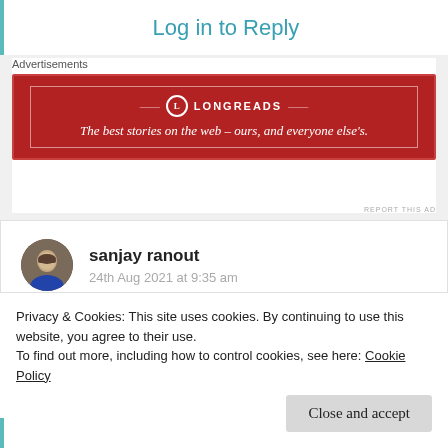Log in to Reply
Advertisements
[Figure (illustration): Longreads advertisement banner: red background with white border and logo. Text reads: 'The best stories on the web – ours, and everyone else's.']
REPORT THIS AD
sanjay ranout
24th Aug 2021 at 9:35 am
Truthful feelings
Liked by 5 people
Privacy & Cookies: This site uses cookies. By continuing to use this website, you agree to their use.
To find out more, including how to control cookies, see here: Cookie Policy
Close and accept